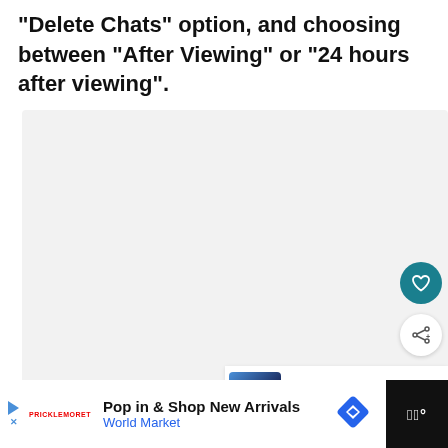“Delete Chats” option, and choosing between “After Viewing” or “24 hours after viewing”.
[Figure (screenshot): A light gray placeholder image area with three dots indicating a carousel or loading state. On the right side are a teal heart icon button and a white share icon button.]
[Figure (infographic): A 'What's Next' card showing a thumbnail of hands with a phone and text 'How To Delete Sent Snapchat']
[Figure (screenshot): An advertisement bar at the bottom: 'Pop in & Shop New Arrivals / World Market' with a blue diamond navigation icon, on a black background with a white ad area and a small World Market logo section.]